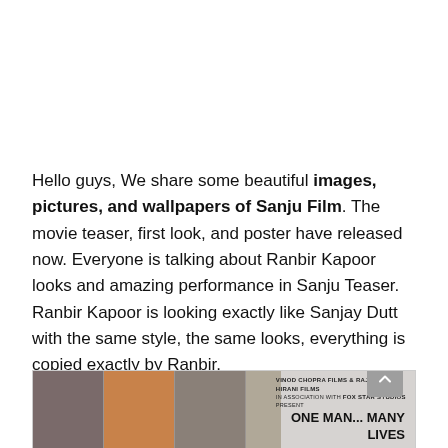Hello guys, We share some beautiful images, pictures, and wallpapers of Sanju Film. The movie teaser, first look, and poster have released now. Everyone is talking about Ranbir Kapoor looks and amazing performance in Sanju Teaser. Ranbir Kapoor is looking exactly like Sanjay Dutt with the same style, the same looks, everything is copied exactly by Ranbir.
[Figure (photo): Movie poster for Sanju film showing multiple actors in a row (several character looks of Sanjay Dutt), with text 'VINOD CHOPRA FILMS & RAJKUMAR HIRANI FILMS IN ASSOCIATION WITH FOX STAR STUDIOS PRESENT' and tagline 'ONE MAN... MANY LIVES']